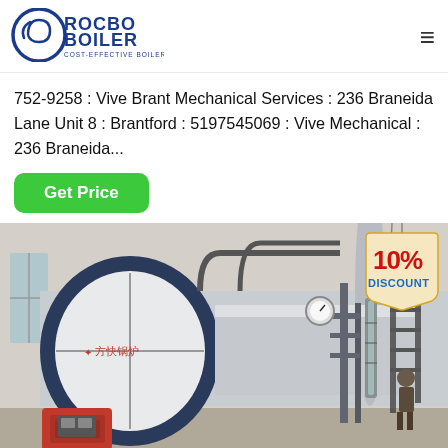[Figure (logo): Rocbo Boiler logo with text 'ROCBO BOILER' and subtitle 'COST-EFFECTIVE BOILER SUPPLIER', with a circular swirl icon in blue and dark blue]
752-9258 : Vive Brant Mechanical Services : 236 Braneida Lane Unit 8 : Brantford : 5197545069 : Vive Mechanical : 236 Braneida...
[Figure (other): Green 'Get Price' button]
[Figure (photo): Industrial boiler (labeled 方快锅炉) in a factory/industrial setting, showing a large cylindrical horizontal boiler with dark blue front panel, red burner at front, pipes and gauges on the right side, and a worker visible in background]